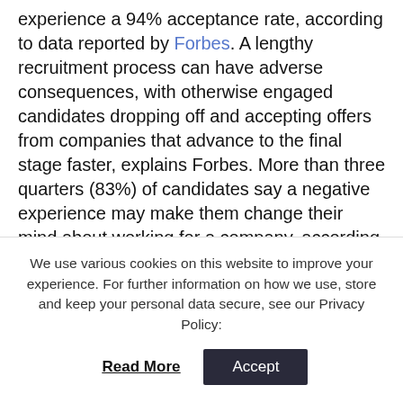experience a 94% acceptance rate, according to data reported by Forbes. A lengthy recruitment process can have adverse consequences, with otherwise engaged candidates dropping off and accepting offers from companies that advance to the final stage faster, explains Forbes. More than three quarters (83%) of candidates say a negative experience may make them change their mind about working for a company, according to LinkedIn data.
We use various cookies on this website to improve your experience. For further information on how we use, store and keep your personal data secure, see our Privacy Policy: